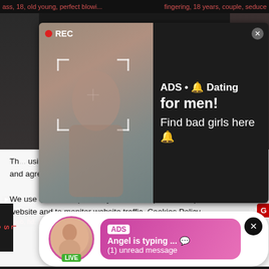ass, 18, old young, perfect blowi...    fingering, 18 years, couple, seduce
[Figure (screenshot): Adult video thumbnail with REC badge overlay, showing person taking mirror selfie]
ADS • 🔔 Dating for men!
Find bad girls here 🔔
Too B...    yJu...
blowjob, hd, 18, 18 years    blowjob, hd, 18 blowjob, 18 yea...
[Figure (screenshot): Pink chat notification ad showing avatar with LIVE badge and message bubble: ADS / Angel is typing... 💬 / (1) unread message]
ADS
Angel is typing ... 💬
(1) unread message
This site contains age-restricted material. By using this site, you hereby verify that you are age 18 and older and agree to comply with all the Privacy Policy.
We use cookies to provide you the best possible experience on our website and to monitor website traffic. Cookies Policy.